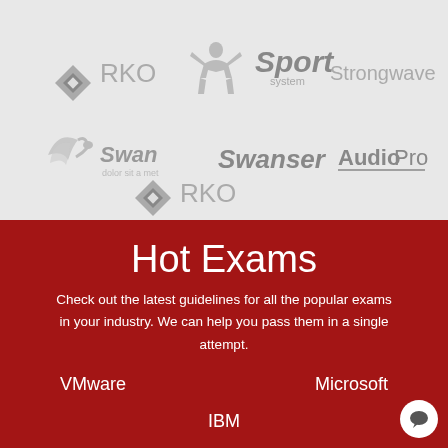[Figure (logo): Grid of company logos on gray background: RKO (diamond icon), Sport system (muscular figure), Strongwave, Swan (swan icon with tagline 'dolor sit a met'), Swanser, AudioPro, RKO (diamond icon again)]
Hot Exams
Check out the latest guidelines for all the popular exams in your industry. We can help you pass them in a single attempt.
VMware
Microsoft
IBM